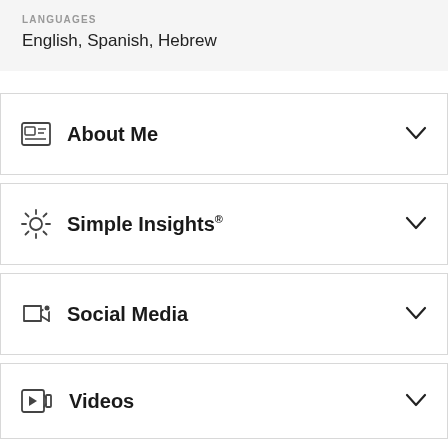LANGUAGES
English, Spanish, Hebrew
About Me
Simple Insights®
Social Media
Videos